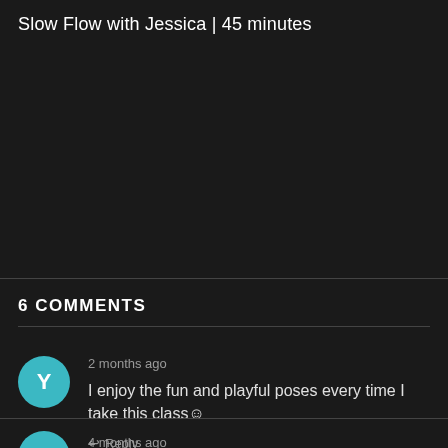Slow Flow with Jessica | 45 minutes
6 COMMENTS
2 months ago
I enjoy the fun and playful poses every time I take this class☺
↩ Reply
4 months ago